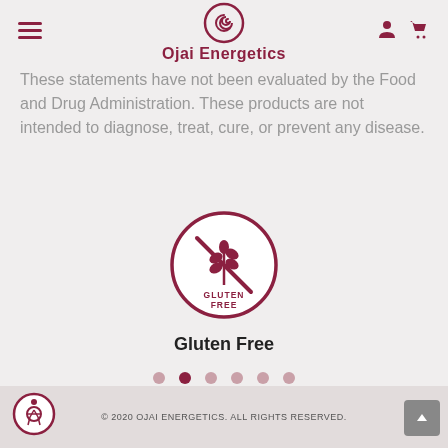Ojai Energetics
These statements have not been evaluated by the Food and Drug Administration. These products are not intended to diagnose, treat, cure, or prevent any disease.
[Figure (logo): Gluten Free badge: circle with crossed-out wheat icon, text GLUTEN FREE]
Gluten Free
[Figure (other): Carousel navigation dots, 6 dots with second one active]
© 2020 OJAI ENERGETICS. ALL RIGHTS RESERVED.